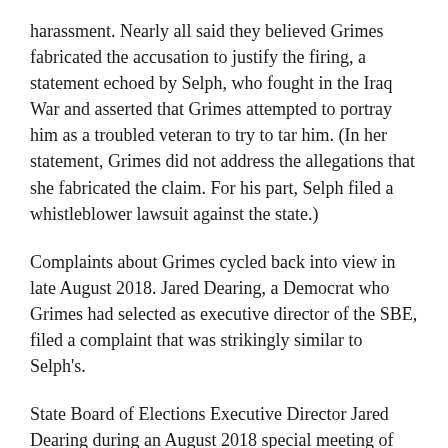harassment. Nearly all said they believed Grimes fabricated the accusation to justify the firing, a statement echoed by Selph, who fought in the Iraq War and asserted that Grimes attempted to portray him as a troubled veteran to try to tar him. (In her statement, Grimes did not address the allegations that she fabricated the claim. For his part, Selph filed a whistleblower lawsuit against the state.)
Complaints about Grimes cycled back into view in late August 2018. Jared Dearing, a Democrat who Grimes had selected as executive director of the SBE, filed a complaint that was strikingly similar to Selph's.
State Board of Elections Executive Director Jared Dearing during an August 2018 special meeting of the State Board of Elections at the Kentucky State Capitol in Frankfort. Dearing accused Secretary of State Alison Lundergan Grimes of abusing her power.
Alex Slitz aslitz@herald-leader.com